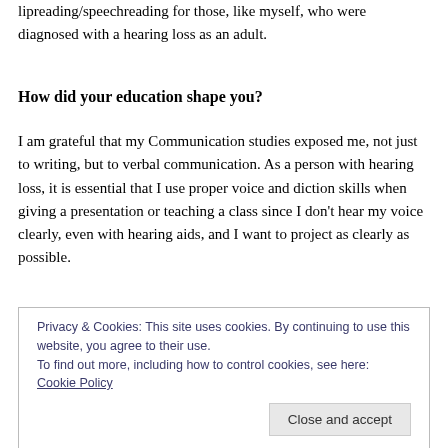lipreading/speechreading for those, like myself, who were diagnosed with a hearing loss as an adult.
How did your education shape you?
I am grateful that my Communication studies exposed me, not just to writing, but to verbal communication. As a person with hearing loss, it is essential that I use proper voice and diction skills when giving a presentation or teaching a class since I don't hear my voice clearly, even with hearing aids, and I want to project as clearly as possible.
Privacy & Cookies: This site uses cookies. By continuing to use this website, you agree to their use.
To find out more, including how to control cookies, see here: Cookie Policy